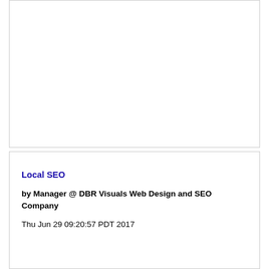[Figure (other): Empty white card/panel at the top of the page]
Local SEO
by Manager @ DBR Visuals Web Design and SEO Company
Thu Jun 29 09:20:57 PDT 2017